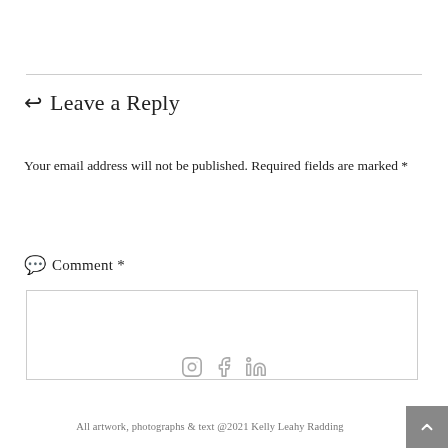↩ Leave a Reply
Your email address will not be published. Required fields are marked *
💬 Comment *
All artwork, photographs & text @2021 Kelly Leahy Radding